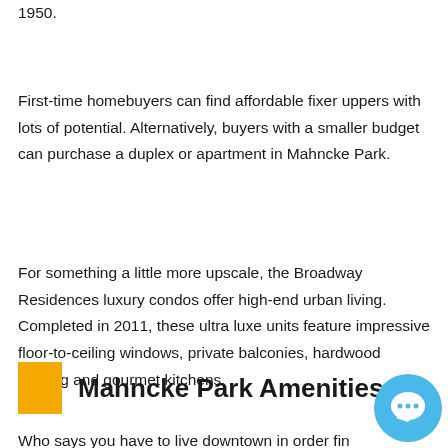1950.
First-time homebuyers can find affordable fixer uppers with lots of potential. Alternatively, buyers with a smaller budget can purchase a duplex or apartment in Mahncke Park.
For something a little more upscale, the Broadway Residences luxury condos offer high-end urban living. Completed in 2011, these ultra luxe units feature impressive floor-to-ceiling windows, private balconies, hardwood flooring and gourmet kitchens.
Mahncke Park Amenities
Who says you have to live downtown in order find something to do. This neighborhood has a number of